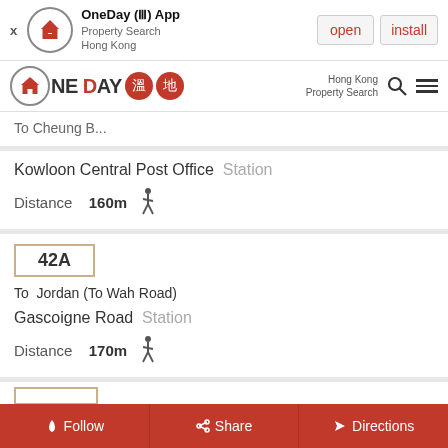[Figure (screenshot): OneDay app install banner with logo, open and install buttons]
[Figure (screenshot): OneDay property search navigation header with logo, Chinese characters in red circles, search icon and menu]
To Cheung B...
Kowloon Central Post Office  Station
Distance  160m  [walking icon]
42A
To  Jordan (To Wah Road)
Gascoigne Road  Station
Distance  170m  [walking icon]
[Figure (screenshot): Partial bus route box at bottom, partially cut off]
Follow  Share  Directions